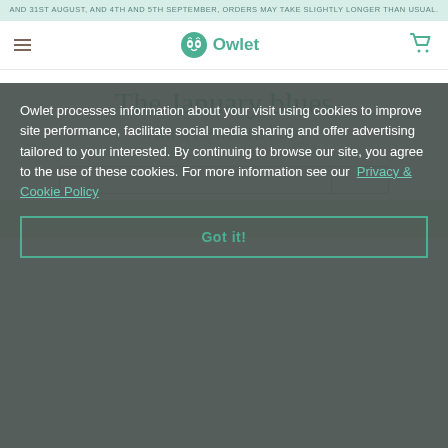AND 31ST AUGUST, AND 4TH AND 5TH SEPTEMBER, ORDERS MAY TAKE SLIGHTLY LONGER THAN USUAL.
[Figure (logo): Owlet brand logo with owl icon and wordmark in teal/green color]
The January blues with a newborn baby
DATE: JANUARY 02, 2020
Owlet processes information about your visit using cookies to improve site performance, facilitate social media sharing and offer advertising tailored to your interested. By continuing to browse our site, you agree to the use of these cookies. For more information see our Privacy & Cookie Policy
Got it!